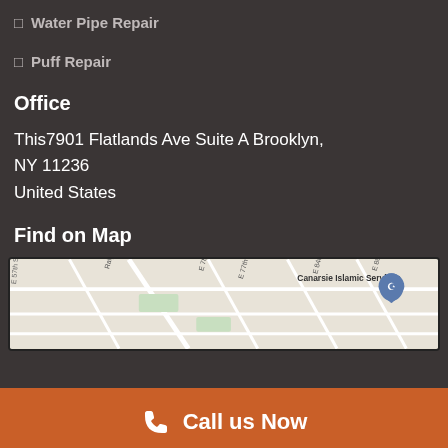✦ Water Pipe Repair
✦ Puff Repair
Office
This7901 Flatlands Ave Suite A Brooklyn, NY 11236
United States
Find on Map
[Figure (map): Street map showing area around Canarsie Islamic Services in Brooklyn, NY with streets including E 78th St, E 77th St, E 84th St, E 86th St, Ralph Ave, E 57th St]
Call us Now